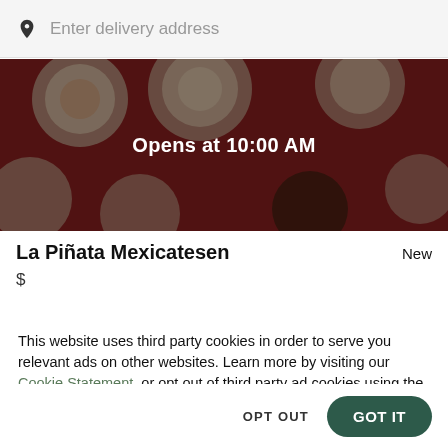Enter delivery address
[Figure (photo): Restaurant food photo banner showing various dishes on a dark red table, overlaid with semi-transparent dark overlay and text 'Opens at 10:00 AM']
Opens at 10:00 AM
La Piñata Mexicatesen
New
$
This website uses third party cookies in order to serve you relevant ads on other websites. Learn more by visiting our Cookie Statement, or opt out of third party ad cookies using the button below.
OPT OUT
GOT IT